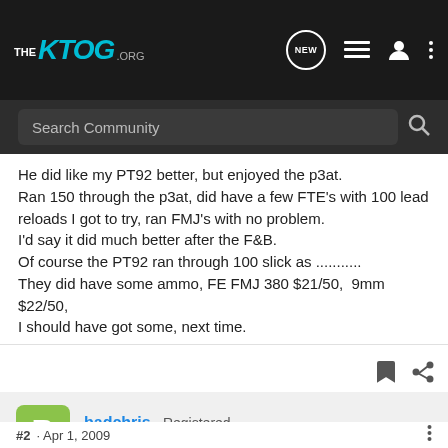[Figure (screenshot): KTOG.org forum website header with logo and navigation icons]
He did like my PT92 better, but enjoyed the p3at. Ran 150 through the p3at, did have a few FTE's with 100 lead reloads I got to try, ran FMJ's with no problem. I'd say it did much better after the F&amp;B. Of course the PT92 ran through 100 slick as ........... They did have some ammo, FE FMJ 380 $21/50,  9mm $22/50, I should have got some, next time.
badchris · Registered
Joined Mar 24, 2009 · 42 Posts
#2 · Apr 1, 2009